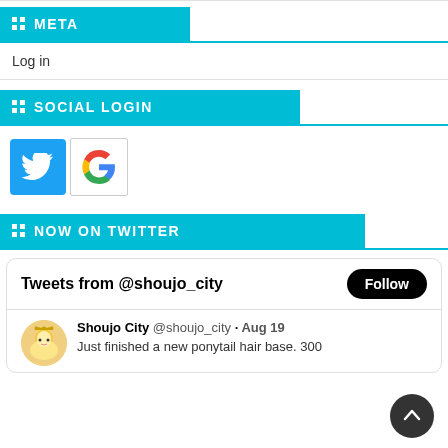META
Log in
SOCIAL LOGIN
[Figure (logo): Twitter and Google social login icons]
NOW ON TWITTER
Tweets from @shoujo_city
Shoujo City @shoujo_city · Aug 19
Just finished a new ponytail hair base. 300